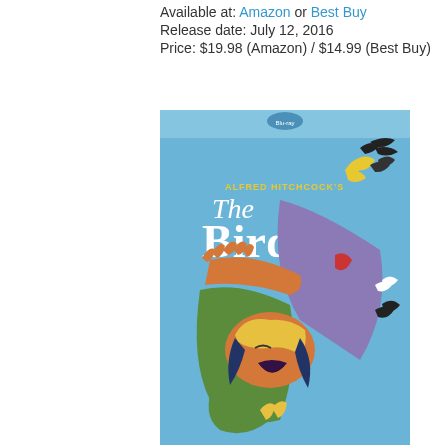Available at: Amazon or Best Buy
Release date: July 12, 2016
Price: $19.98 (Amazon) / $14.99 (Best Buy)
[Figure (illustration): Blu-ray cover of Alfred Hitchcock's The Birds. Light blue background with stylized illustration of a screaming woman being attacked by birds. Text reads 'ALFRED HITCHCOCK'S The Birds'. Blu-ray logo at top.]